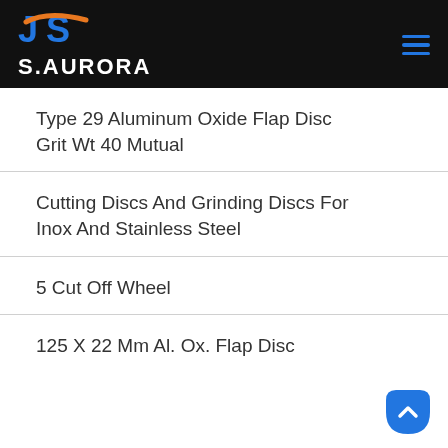S.AURORA
Type 29 Aluminum Oxide Flap Disc Grit Wt 40 Mutual
Cutting Discs And Grinding Discs For Inox And Stainless Steel
5 Cut Off Wheel
125 X 22 Mm Al. Ox. Flap Disc